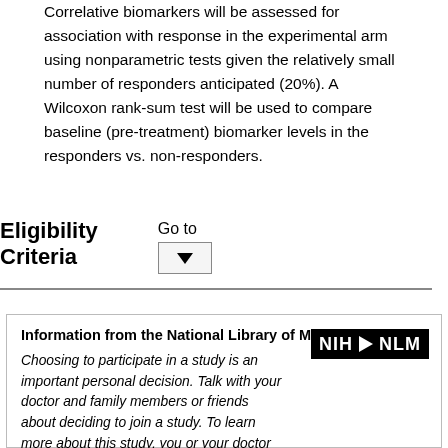Correlative biomarkers will be assessed for association with response in the experimental arm using nonparametric tests given the relatively small number of responders anticipated (20%). A Wilcoxon rank-sum test will be used to compare baseline (pre-treatment) biomarker levels in the responders vs. non-responders.
Eligibility Criteria
Go to
[Figure (other): Dropdown button with downward arrow]
Information from the National Library of Medicine
[Figure (logo): NIH NLM logo — black rectangle with white text NIH arrow NLM]
Choosing to participate in a study is an important personal decision. Talk with your doctor and family members or friends about deciding to join a study. To learn more about this study, you or your doctor may contact the study research